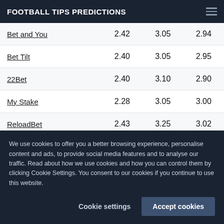FOOTBALL TIPS PREDICTIONS
|  |  |  |  |
| --- | --- | --- | --- |
| Bet and You | 2.42 | 3.05 | 2.94 |
| Bet Tilt | 2.40 | 3.05 | 2.95 |
| 22Bet | 2.40 | 3.10 | 2.90 |
| My Stake | 2.28 | 3.05 | 3.00 |
| ReloadBet | 2.43 | 3.25 | 3.02 |
| Leon Bet | 2.40 | 3.10 | 3.00 |
| 1Win | 2.28 | 2.08 | 2.08 |
We use cookies to offer you a better browsing experience, personalise content and ads, to provide social media features and to analyse our traffic. Read about how we use cookies and how you can control them by clicking Cookie Settings. You consent to our cookies if you continue to use this website.
Cookie settings
Accept cookies